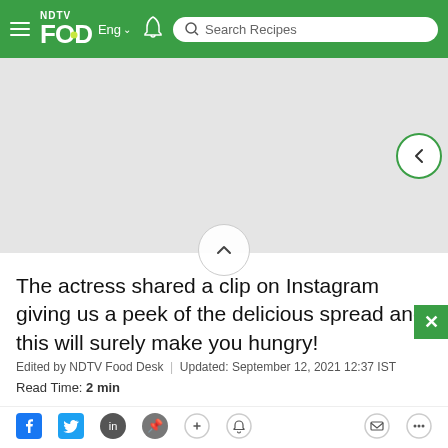NDTV Food Eng | Search Recipes (navigation bar)
[Figure (other): Gray placeholder/advertisement area with a back navigation button (circle with left arrow, green border) on the right side]
The actress shared a clip on Instagram giving us a peek of the delicious spread and this will surely make you hungry!
Edited by NDTV Food Desk | Updated: September 12, 2021 12:37 IST
Read Time: 2 min
[Figure (other): Social media sharing icons row: Facebook, Twitter, Instagram, Pinterest, link, bell/notification, email, more]